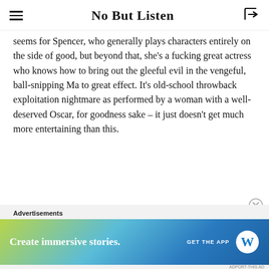No But Listen
seems for Spencer, who generally plays characters entirely on the side of good, but beyond that, she's a fucking great actress who knows how to bring out the gleeful evil in the vengeful, ball-snipping Ma to great effect. It's old-school throwback exploitation nightmare as performed by a woman with a well-deserved Oscar, for goodness sake – it just doesn't get much more entertaining than this.
Advertisements
[Figure (screenshot): Advertisement banner for WordPress app: 'Create immersive stories. GET THE APP' with WordPress logo on blue-green gradient background]